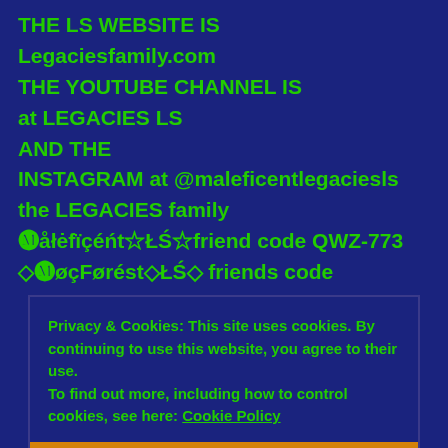THE LS WEBSITE IS
Legaciesfamily.com
THE YOUTUBE CHANNEL IS
at LEGACIES LS
AND THE
INSTAGRAM at @maleficentlegaciesls
the LEGACIES family
🅜åłėfïçéńt☆ŁŚ☆friend code QWZ-773
◇🅜øçFørést◇ŁŚ◇ friends code
Privacy & Cookies: This site uses cookies. By continuing to use this website, you agree to their use. To find out more, including how to control cookies, see here: Cookie Policy
Close and accept